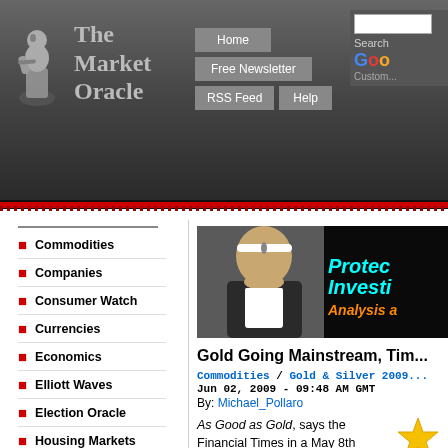The Market Oracle
Commodities
Companies
Consumer Watch
Currencies
Economics
Elliott Waves
Election Oracle
Housing Markets
Interest Rates
Investor Education
Market Oracle TV
Mega-Trend Forecasts
[Figure (photo): Website banner image showing a woman and overlaid text 'Protec... Investi... Analysis a...']
Gold Going Mainstream, Tim...
Commodities / Gold & Silver 2009... Jun 02, 2009 - 09:48 AM GMT By: Michael_Pollaro
As Good as Gold, says the Financial Times in a May 8th essay. To quote. “The glistering store of value, unwanted in 1999, is back in fashion.” All one needs to do is and hold.